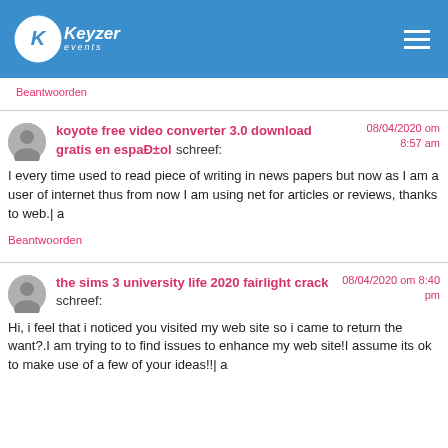Keyzer events
Beantwoorden
koyote free video converter 3.0 download gratis en español schreef: 08/04/2020 om 8:57 am

I every time used to read piece of writing in news papers but now as I am a user of internet thus from now I am using net for articles or reviews, thanks to web.| a

Beantwoorden
the sims 3 university life 2020 fairlight crack schreef: 08/04/2020 om 8:40 pm

Hi, i feel that i noticed you visited my web site so i came to return the want?.I am trying to to find issues to enhance my web site!I assume its ok to make use of a few of your ideas!!| a